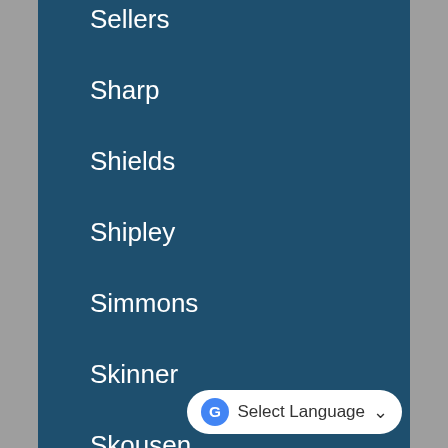Sellers
Sharp
Shields
Shipley
Simmons
Skinner
Skousen
Smart
Smith